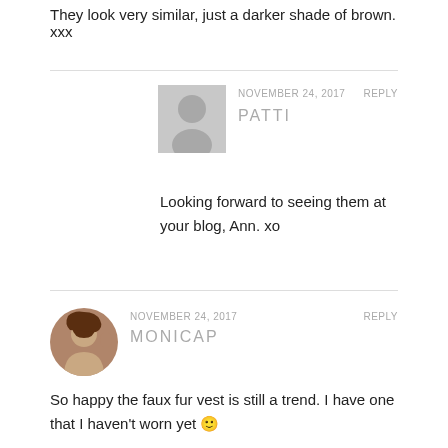They look very similar, just a darker shade of brown. xxx
NOVEMBER 24, 2017   REPLY
PATTI
Looking forward to seeing them at your blog, Ann. xo
NOVEMBER 24, 2017   REPLY
MONICAP
So happy the faux fur vest is still a trend. I have one that I haven't worn yet 🙂

Monica